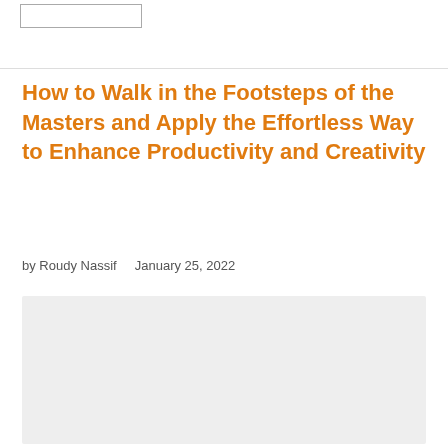How to Walk in the Footsteps of the Masters and Apply the Effortless Way to Enhance Productivity and Creativity
by Roudy Nassif    January 25, 2022
[Figure (photo): Gray placeholder image area below the byline]